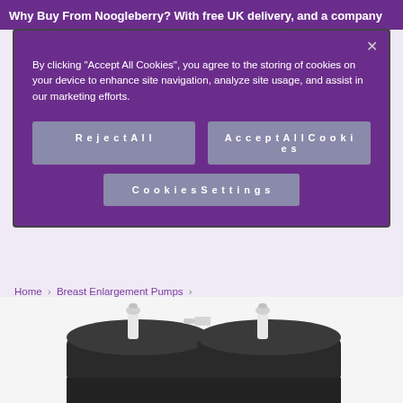Why Buy From Noogleberry? With free UK delivery, and a company
By clicking “Accept All Cookies”, you agree to the storing of cookies on your device to enhance site navigation, analyze site usage, and assist in our marketing efforts.
Reject All
Accept All Cookies
Cookies Settings
Home › Breast Enlargement Pumps ›
Airlock Contoured Breast Enlargement System
[Figure (photo): Bottom portion of a breast enlargement pump system showing dark cylindrical cups and white connectors/valves against a light background]